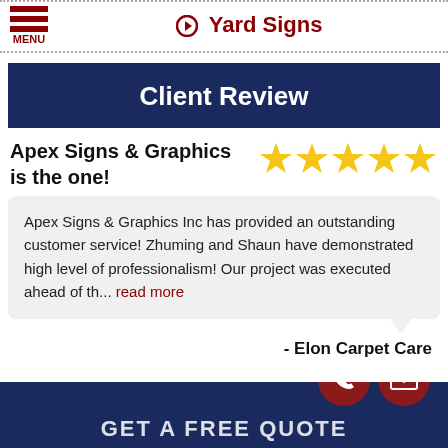Yard Signs
Client Review
Apex Signs & Graphics is the one!
[Figure (other): Five gold stars rating]
Apex Signs & Graphics Inc has provided an outstanding customer service! Zhuming and Shaun have demonstrated high level of professionalism! Our project was executed ahead of th... read more
- Elon Carpet Care
GET A FREE QUOTE